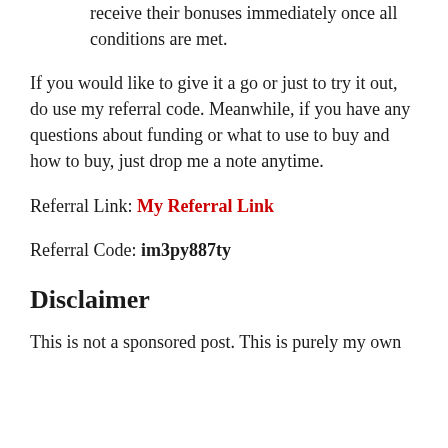receive their bonuses immediately once all conditions are met.
If you would like to give it a go or just to try it out, do use my referral code. Meanwhile, if you have any questions about funding or what to use to buy and how to buy, just drop me a note anytime.
Referral Link: My Referral Link
Referral Code: im3py887ty
Disclaimer
This is not a sponsored post. This is purely my own